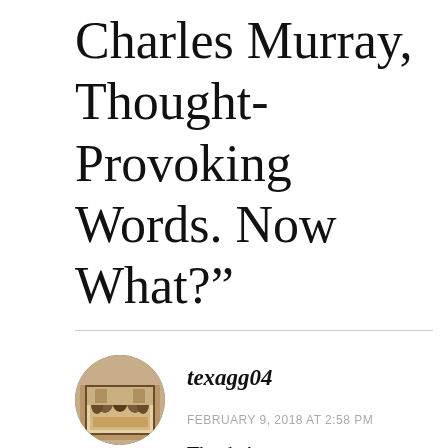Charles Murray, Thought-Provoking Words. Now What?”
texagg04
FEBRUARY 9, 2018 AT 2:58 PM
Thanks!